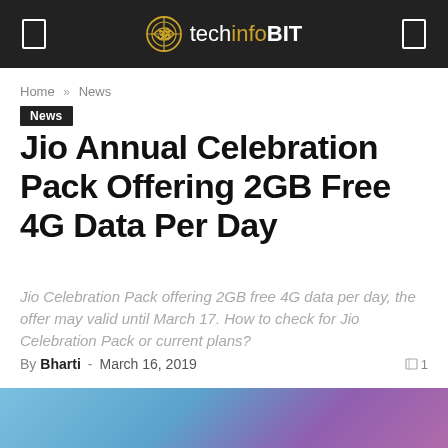techinfoBiT
Home » News
News
Jio Annual Celebration Pack Offering 2GB Free 4G Data Per Day
Jio Celebration Pack offering 2GB free 4G data per day, the offer may valid until March 17. How to check for Jio Celebration Pack or current plans?
By Bharti - March 16, 2019  1
[Figure (photo): Partial bottom image strip showing a colorful background photo]